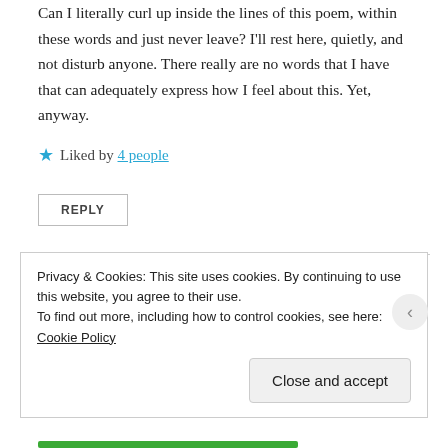Can I literally curl up inside the lines of this poem, within these words and just never leave? I'll rest here, quietly, and not disturb anyone. There really are no words that I have that can adequately express how I feel about this. Yet, anyway.
Liked by 4 people
REPLY
Watt
August 30, 2019 at 8:14 pm
Privacy & Cookies: This site uses cookies. By continuing to use this website, you agree to their use. To find out more, including how to control cookies, see here: Cookie Policy
Close and accept